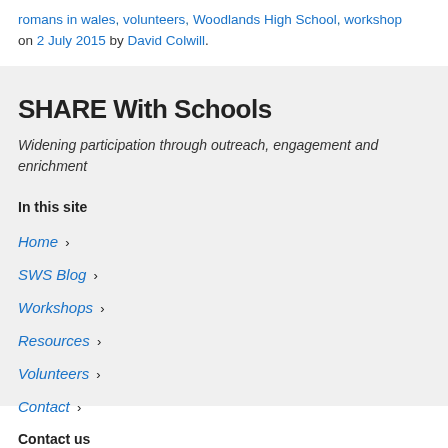romans in wales, volunteers, Woodlands High School, workshop on 2 July 2015 by David Colwill.
SHARE With Schools
Widening participation through outreach, engagement and enrichment
In this site
Home
SWS Blog
Workshops
Resources
Volunteers
Contact
Contact us